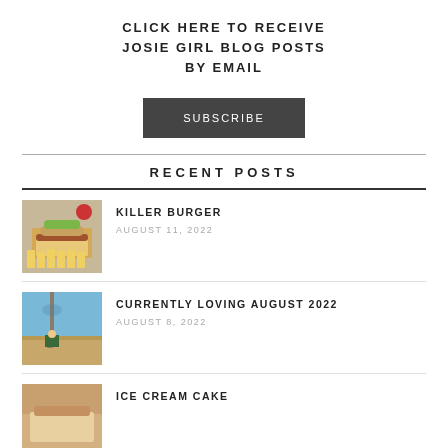CLICK HERE TO RECEIVE JOSIE GIRL BLOG POSTS BY EMAIL
SUBSCRIBE
RECENT POSTS
[Figure (photo): Photo of a burger with fries viewed from above]
KILLER BURGER
AUGUST 11, 2022
[Figure (photo): Photo of a person standing in a field]
CURRENTLY LOVING AUGUST 2022
AUGUST 8, 2022
[Figure (photo): Photo partially visible at bottom]
ICE CREAM CAKE